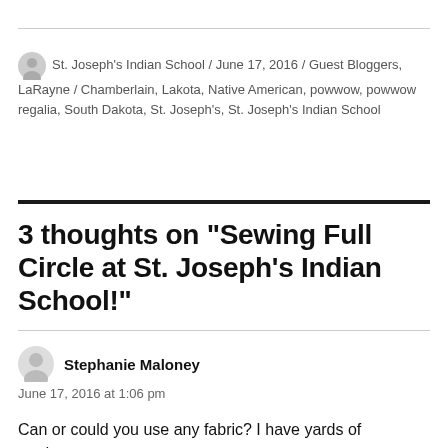St. Joseph's Indian School / June 17, 2016 / Guest Bloggers, LaRayne / Chamberlain, Lakota, Native American, powwow, powwow regalia, South Dakota, St. Joseph's, St. Joseph's Indian School
3 thoughts on “Sewing Full Circle at St. Joseph’s Indian School!”
Stephanie Maloney
June 17, 2016 at 1:06 pm
Can or could you use any fabric? I have yards of corduroy,